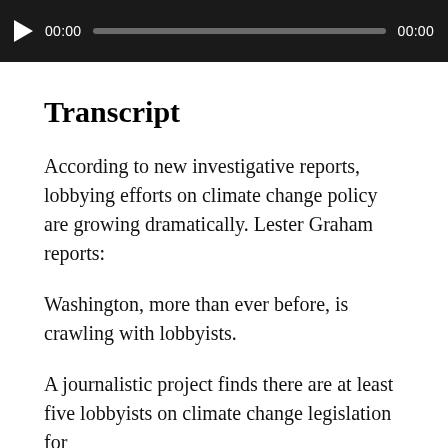[Figure (other): Audio player with play button, progress bar, and time stamps showing 00:00 at start and end]
Transcript
According to new investigative reports, lobbying efforts on climate change policy are growing dramatically. Lester Graham reports:
Washington, more than ever before, is crawling with lobbyists.
A journalistic project finds there are at least five lobbyists on climate change legislation for every member of Congress.